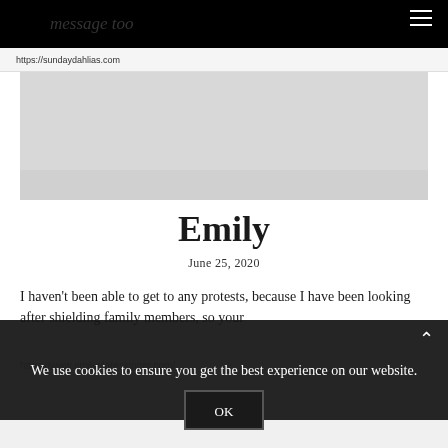message too
https://sundaydahlias.com
Emily
June 25, 2020
I haven't been able to get to any protests, because I have been looking after shielding family members, so your
We use cookies to ensure you get the best experience on our website.
https://www.emilyclareskinner.com/
OK